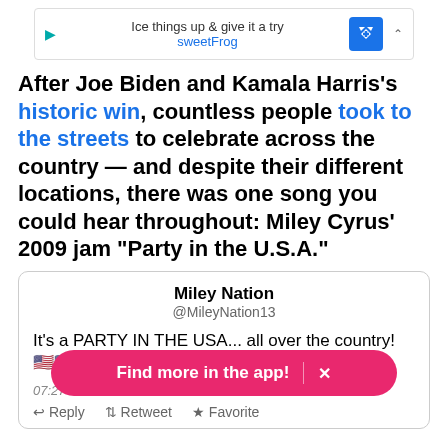[Figure (screenshot): Ad banner: play icon, 'Ice things up & give it a try', 'sweetFrog', blue navigation icon, caret]
After Joe Biden and Kamala Harris's historic win, countless people took to the streets to celebrate across the country — and despite their different locations, there was one song you could hear throughout: Miley Cyrus' 2009 jam "Party in the U.S.A."
[Figure (screenshot): Tweet card from Miley Nation (@MileyNation13): 'It's a PARTY IN THE USA... all over the country! [flags] 07:27 PM - 08 N...' with Reply, Retweet, Favorite actions and a 'Find more in the app!' CTA overlay]